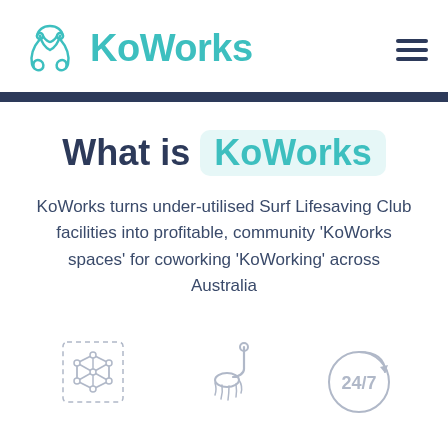[Figure (logo): KoWorks logo: teal octopus/infinity knot icon with teal text 'KoWorks' and dark navy hamburger menu icon top right]
What is KoWorks
KoWorks turns under-utilised Surf Lifesaving Club facilities into profitable, community 'KoWorks spaces' for coworking 'KoWorking' across Australia
[Figure (illustration): Three outline icons at bottom: a geometric 3D cube/network node, a shower head with water spray, and a 24/7 clock circle]